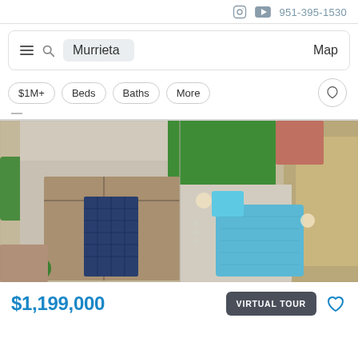951-395-1530
Murrieta
$1M+  Beds  Baths  More
[Figure (photo): Aerial drone photo of a large residential property in Murrieta showing the rooftop with solar panels, green lawn, large rectangular swimming pool with patio area and umbrellas, surrounding landscaping and adjacent properties.]
$1,199,000
VIRTUAL TOUR